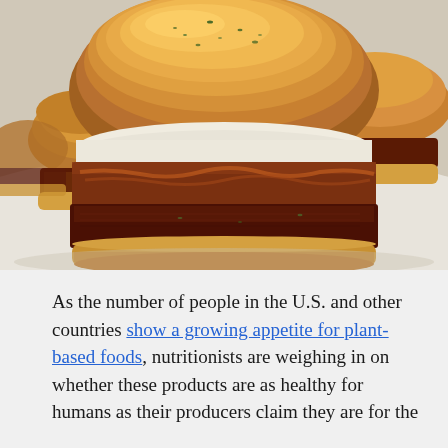[Figure (photo): Close-up photograph of plant-based sliders on a white plate. The foreground shows a slider with a golden-brown glazed bun sprinkled with herbs, filled with a dark brown meat-like patty with caramelized onions and sauce. Additional sliders are visible in the background.]
As the number of people in the U.S. and other countries show a growing appetite for plant-based foods, nutritionists are weighing in on whether these products are as healthy for humans as their producers claim they are for the